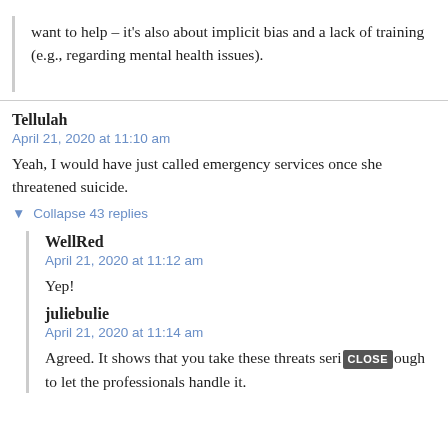want to help – it's also about implicit bias and a lack of training (e.g., regarding mental health issues).
Tellulah
April 21, 2020 at 11:10 am
Yeah, I would have just called emergency services once she threatened suicide.
▼ Collapse 43 replies
WellRed
April 21, 2020 at 11:12 am
Yep!
juliebulie
April 21, 2020 at 11:14 am
Agreed. It shows that you take these threats seriously enough to let the professionals handle it.